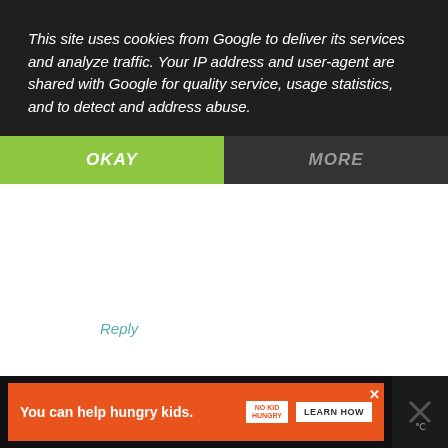This site uses cookies from Google to deliver its services and analyze traffic. Your IP address and user-agent are shared with Google for quality service, usage statistics, and to detect and address abuse.
OKAY
MORE
Reply
Andrea  Wednesday, October 10, 2012
I am a Gooseberry Patch Circle of Friends member. Thanks for the chance to enter.
Andrea D.
short74717@msn.com
1
Reply
WHAT'S NEXT → Gooseberry Patch The...
You can help hungry kids.
LEARN HOW